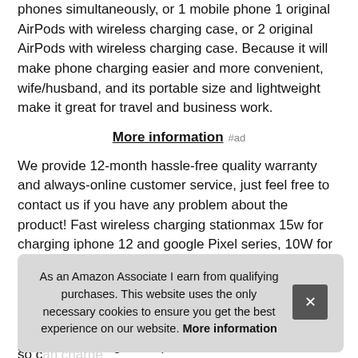phones simultaneously, or 1 mobile phone 1 original AirPods with wireless charging case, or 2 original AirPods with wireless charging case. Because it will make phone charging easier and more convenient, wife/husband, and its portable size and lightweight make it great for travel and business work.
More information #ad
We provide 12-month hassle-free quality warranty and always-online customer service, just feel free to contact us if you have any problem about the product! Fast wireless charging stationmax 15w for charging iphone 12 and google Pixel series, 10W for charging Samsung series, 7.
5w for charging other devices. The charging station can charge multiple devices at the same time with
As an Amazon Associate I earn from qualifying purchases. This website uses the only necessary cookies to ensure you get the best experience on our website. More information